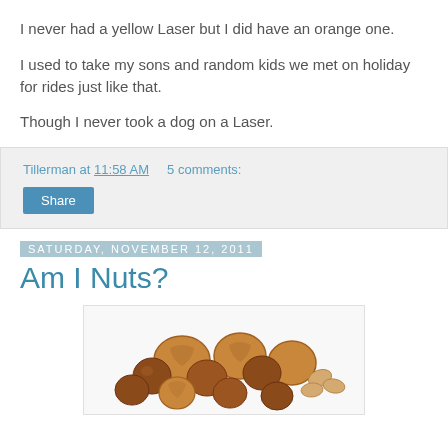I never had a yellow Laser but I did have an orange one.
I used to take my sons and random kids we met on holiday for rides just like that.
Though I never took a dog on a Laser.
Tillerman at 11:58 AM   5 comments:
Share
Saturday, November 12, 2011
Am I Nuts?
[Figure (photo): A pile of mixed nuts including walnuts, hazelnuts, and peanuts on a white background]